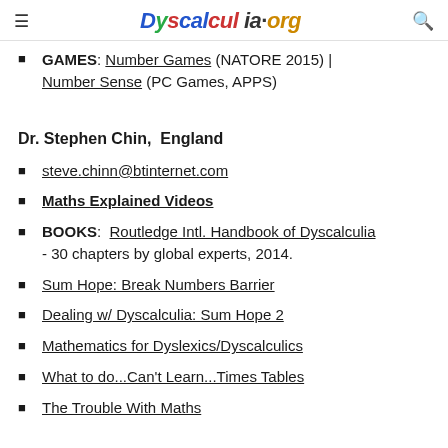≡ Dyscalculia.org 🔍
GAMES: Number Games (NATORE 2015) | Number Sense (PC Games, APPS)
Dr. Stephen Chin,  England
steve.chinn@btinternet.com
Maths Explained Videos
BOOKS: Routledge Intl. Handbook of Dyscalculia - 30 chapters by global experts, 2014.
Sum Hope: Break Numbers Barrier
Dealing w/ Dyscalculia: Sum Hope 2
Mathematics for Dyslexics/Dyscalculics
What to do...Can't Learn...Times Tables
The Trouble With Maths